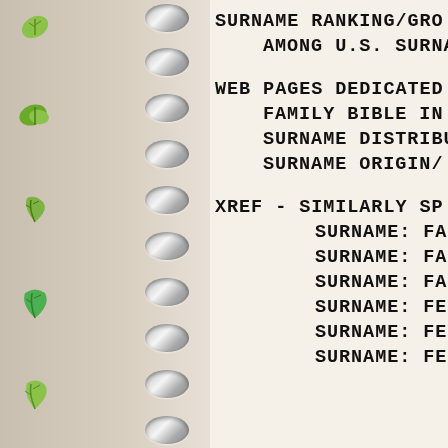SURNAME RANKING/GRO
AMONG U.S. SURNA
WEB PAGES DEDICATED
        FAMILY BIBLE IN
        SURNAME DISTRIB
        SURNAME ORIGIN/
XREF - SIMILARLY SP
        SURNAME: FAIN
        SURNAME: FAN
        SURNAME: FANG
        SURNAME: FEENEY
        SURNAME: FENG
        SURNAME: FENN